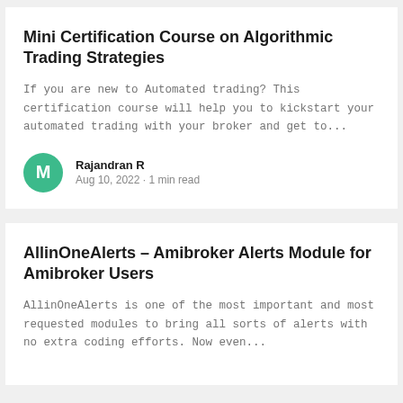Mini Certification Course on Algorithmic Trading Strategies
If you are new to Automated trading? This certification course will help you to kickstart your automated trading with your broker and get to...
Rajandran R
Aug 10, 2022 · 1 min read
AllinOneAlerts – Amibroker Alerts Module for Amibroker Users
AllinOneAlerts is one of the most important and most requested modules to bring all sorts of alerts with no extra coding efforts. Now even...